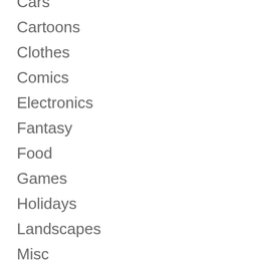Cars
Cartoons
Clothes
Comics
Electronics
Fantasy
Food
Games
Holidays
Landscapes
Misc
Movies
People
Still Life
Toys
Vehicles